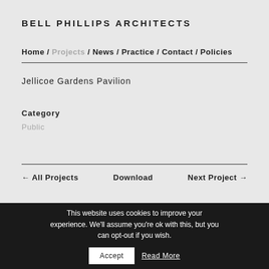BELL PHILLIPS ARCHITECTS
Home / Projects / News / Practice / Contact / Policies
Jellicoe Gardens Pavilion
Category
Public
← All Projects   Download   Next Project →
This website uses cookies to improve your experience. We'll assume you're ok with this, but you can opt-out if you wish. Accept Read More